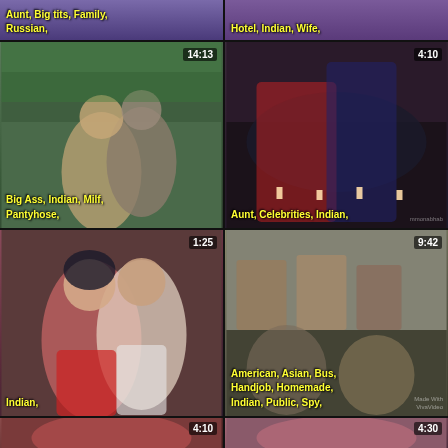[Figure (screenshot): Video thumbnail grid - top strip row 1 left: tags Aunt, Big tits, Family, Russian]
[Figure (screenshot): Video thumbnail grid - top strip row 1 right: tags Hotel, Indian, Wife]
[Figure (screenshot): Video thumbnail 14:13 - tags Big Ass, Indian, Milf, Pantyhose]
[Figure (screenshot): Video thumbnail 4:10 - tags Aunt, Celebrities, Indian]
[Figure (screenshot): Video thumbnail 1:25 - tags Indian]
[Figure (screenshot): Video thumbnail 9:42 - tags American, Asian, Bus, Handjob, Homemade, Indian, Public, Spy]
[Figure (screenshot): Video thumbnail 4:10 - bottom left]
[Figure (screenshot): Video thumbnail 4:30 - bottom right]